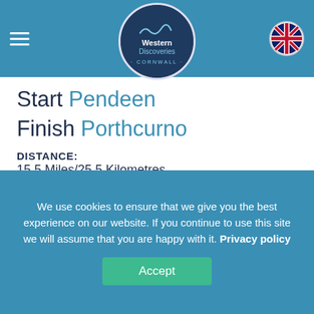Western Discoveries Cornwall (logo)
Start Pendeen
Finish Porthcurno
DISTANCE:
15.5 Miles/25.5 Kilometres
HEIGHT GAIN:
3776 feet/1151 metres
TIME WALKING:
8 hours excluding breaks
DIFFICULTY:
We use cookies to ensure that we give you the best experience on our website. If you continue to use this site we will assume that you are happy with it. Privacy policy
Accept